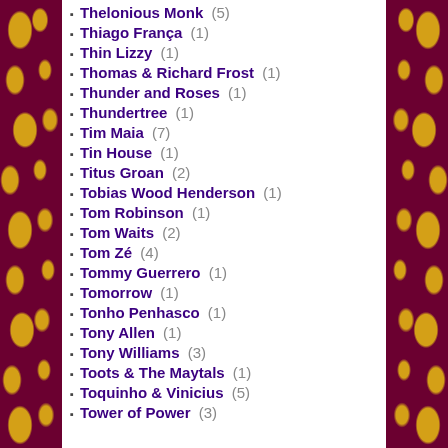Thelonious Monk (5)
Thiago França (1)
Thin Lizzy (1)
Thomas & Richard Frost (1)
Thunder and Roses (1)
Thundertree (1)
Tim Maia (7)
Tin House (1)
Titus Groan (2)
Tobias Wood Henderson (1)
Tom Robinson (1)
Tom Waits (2)
Tom Zé (4)
Tommy Guerrero (1)
Tomorrow (1)
Tonho Penhasco (1)
Tony Allen (1)
Tony Williams (3)
Toots & The Maytals (1)
Toquinho & Vinicius (5)
Tower of Power (3)